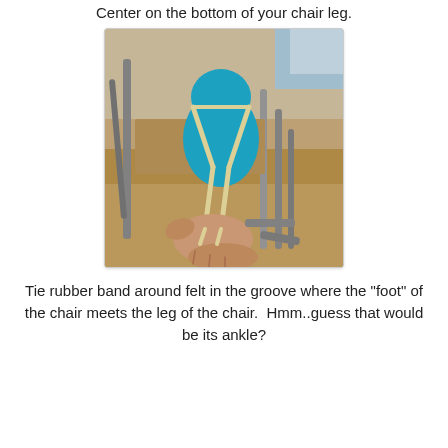Center on the bottom of your chair leg.
[Figure (photo): A blue felt craft figure resembling a small creature placed on a wooden chair leg. A hand holds a rubber band stretched around the felt piece. Chair legs and wooden floor visible in the background.]
Tie rubber band around felt in the groove where the "foot" of the chair meets the leg of the chair.  Hmm..guess that would be its ankle?